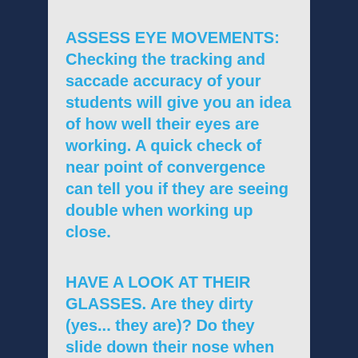ASSESS EYE MOVEMENTS: Checking the tracking and saccade accuracy of your students will give you an idea of how well their eyes are working. A quick check of near point of convergence can tell you if they are seeing double when working up close.
HAVE A LOOK AT THEIR GLASSES. Are they dirty (yes... they are)? Do they slide down their nose when looking down to write? If so, they are losing the benefit of the glasses.